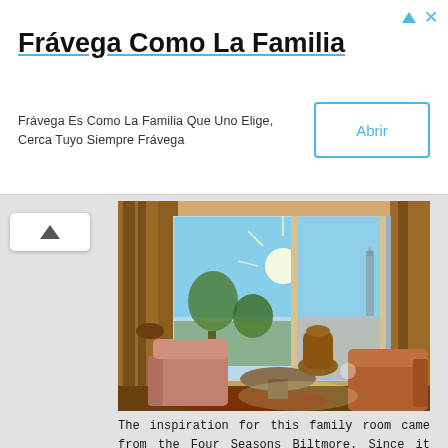Frávega Como La Familia
Frávega Es Como La Familia Que Uno Elige, Cerca Tuyo Siempre Frávega
[Figure (screenshot): Ad button labeled Abrir with blue border]
[Figure (photo): Elegant family room interior with large windows, chairs, round table, decorative vase, warm golden lighting, trees and garden visible outside]
The inspiration for this family room came from the Four Seasons Biltmore. Since it has a lot of windows